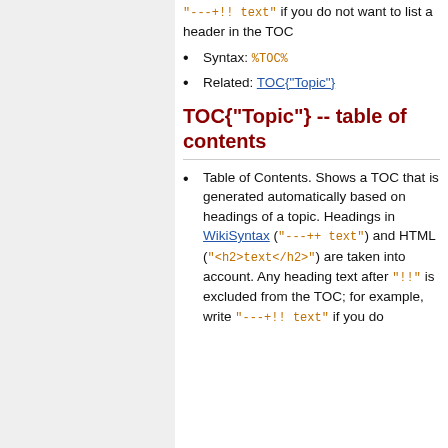"---+!! text" if you do not want to list a header in the TOC
Syntax: %TOC%
Related: TOC{"Topic"}
TOC{"Topic"} -- table of contents
Table of Contents. Shows a TOC that is generated automatically based on headings of a topic. Headings in WikiSyntax ("---++ text") and HTML ("<h2>text</h2>") are taken into account. Any heading text after "!!" is excluded from the TOC; for example, write "---+!! text" if you do